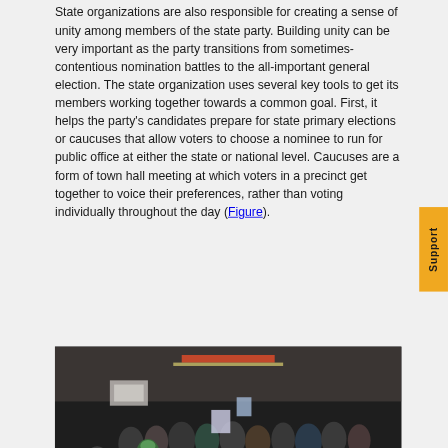State organizations are also responsible for creating a sense of unity among members of the state party. Building unity can be very important as the party transitions from sometimes-contentious nomination battles to the all-important general election. The state organization uses several key tools to get its members working together towards a common goal. First, it helps the party's candidates prepare for state primary elections or caucuses that allow voters to choose a nominee to run for public office at either the state or national level. Caucuses are a form of town hall meeting at which voters in a precinct get together to voice their preferences, rather than voting individually throughout the day (Figure).
[Figure (photo): A photograph of a large indoor gathering of people, likely a caucus event, with a crowd of people standing in a large room or gymnasium.]